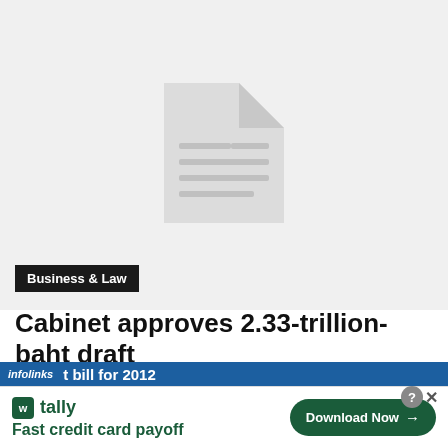[Figure (illustration): Grey placeholder area with a document/file icon in the center, representing a missing or loading image.]
Business & Law
Cabinet approves 2.33-trillion-baht draft budget bill for 2012
infolinks  t bill for 2012
[Figure (other): Tally advertisement banner: tally logo, text 'Fast credit card payoff', and a Download Now button.]